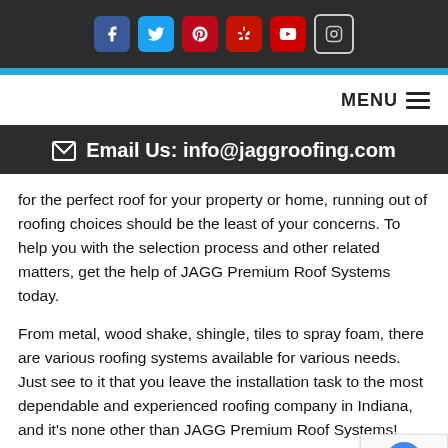[Figure (screenshot): Dark top bar with social media icons: Facebook (blue), Twitter (light blue), Pinterest (dark red), Yelp (red), YouTube (red), Instagram (outlined)]
[Figure (screenshot): Blue horizontal stripe divider]
[Figure (screenshot): White navigation bar with MENU hamburger icon on the right]
✉ Email Us: info@jaggroofing.com
for the perfect roof for your property or home, running out of roofing choices should be the least of your concerns. To help you with the selection process and other related matters, get the help of JAGG Premium Roof Systems today.
From metal, wood shake, shingle, tiles to spray foam, there are various roofing systems available for various needs. Just see to it that you leave the installation task to the most dependable and experienced roofing company in Indiana, and it's none other than JAGG Premium Roof Systems! Other than installation, our roofing company also specializes in consultations, inspections, maintenance, repairs and upgrading